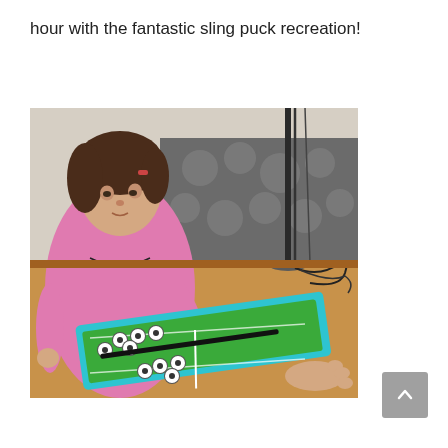hour with the fantastic sling puck recreation!
[Figure (photo): A young girl in a pink shirt playing a tabletop sling puck game on a wooden table. She is leaning forward and reaching toward the game board which has a teal/turquoise frame with a green playing surface and black and white pucks. Another person's hand is visible on the right side of the table. A patterned sofa and some wires are visible in the background.]